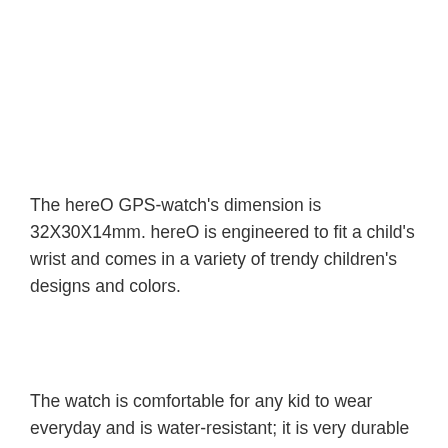The hereO GPS-watch's dimension is 32X30X14mm. hereO is engineered to fit a child's wrist and comes in a variety of trendy children's designs and colors.
The watch is comfortable for any kid to wear everyday and is water-resistant; it is very durable to keep the